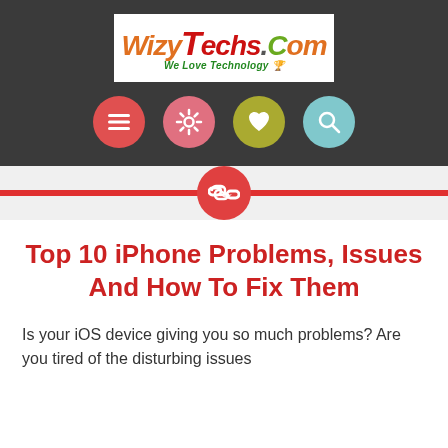[Figure (logo): WizyTechs.Com logo with tagline 'We Love Technology']
[Figure (infographic): Four colored navigation icon circles: menu (red), settings (pink), heart (yellow-green), search (light blue)]
[Figure (infographic): Red horizontal bar with a coral-red circle containing a chain/link icon in the center]
Top 10 iPhone Problems, Issues And How To Fix Them
Is your iOS device giving you so much problems? Are you tired of the disturbing issues